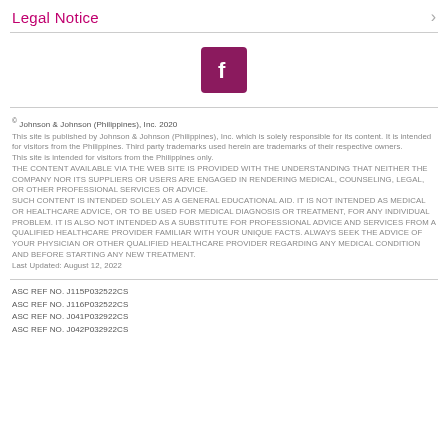Legal Notice
[Figure (logo): Facebook logo icon — white 'f' on dark magenta/maroon square background]
© Johnson & Johnson (Philippines), Inc. 2020
This site is published by Johnson & Johnson (Philippines), Inc. which is solely responsible for its content. It is intended for visitors from the Philippines. Third party trademarks used herein are trademarks of their respective owners.
This site is intended for visitors from the Philippines only.
THE CONTENT AVAILABLE VIA THE WEB SITE IS PROVIDED WITH THE UNDERSTANDING THAT NEITHER THE COMPANY NOR ITS SUPPLIERS OR USERS ARE ENGAGED IN RENDERING MEDICAL, COUNSELING, LEGAL, OR OTHER PROFESSIONAL SERVICES OR ADVICE.
SUCH CONTENT IS INTENDED SOLELY AS A GENERAL EDUCATIONAL AID. IT IS NOT INTENDED AS MEDICAL OR HEALTHCARE ADVICE, OR TO BE USED FOR MEDICAL DIAGNOSIS OR TREATMENT, FOR ANY INDIVIDUAL PROBLEM. IT IS ALSO NOT INTENDED AS A SUBSTITUTE FOR PROFESSIONAL ADVICE AND SERVICES FROM A QUALIFIED HEALTHCARE PROVIDER FAMILIAR WITH YOUR UNIQUE FACTS. ALWAYS SEEK THE ADVICE OF YOUR PHYSICIAN OR OTHER QUALIFIED HEALTHCARE PROVIDER REGARDING ANY MEDICAL CONDITION AND BEFORE STARTING ANY NEW TREATMENT.
Last Updated: August 12, 2022
ASC REF NO. J115P032522CS
ASC REF NO. J116P032522CS
ASC REF NO. J041P032922CS
ASC REF NO. J042P032922CS